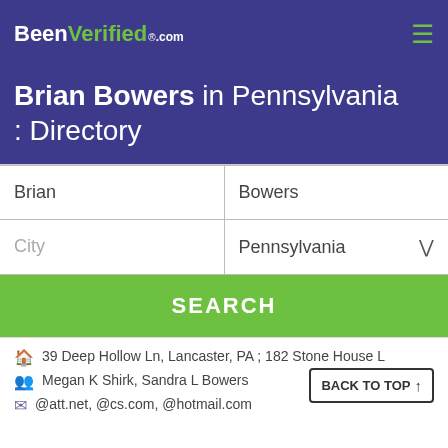BeenVerified.com
Brian Bowers in Pennsylvania : Directory
| Brian | Bowers |
| City | Pennsylvania |
SEARCH
39 Deep Hollow Ln, Lancaster, PA ; 182 Stone House L
Megan K Shirk, Sandra L Bowers
@att.net, @cs.com, @hotmail.com